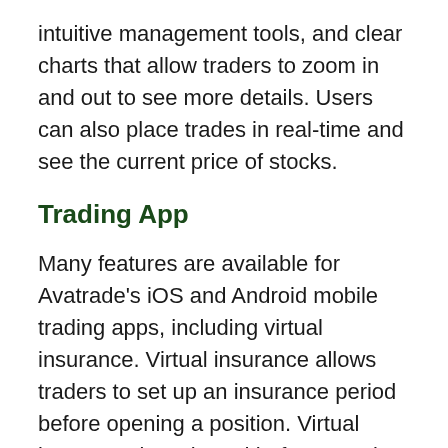intuitive management tools, and clear charts that allow traders to zoom in and out to see more details. Users can also place trades in real-time and see the current price of stocks.
Trading App
Many features are available for Avatrade's iOS and Android mobile trading apps, including virtual insurance. Virtual insurance allows traders to set up an insurance period before opening a position. Virtual insurance is activated before opening a position, so traders can keep an eye on